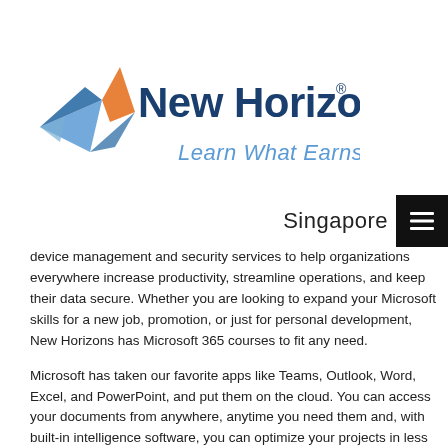[Figure (logo): New Horizons logo with tagline 'Learn What Earns' — stylized wing/arrow icon in blue and orange, company name in dark blue, tagline in light blue italic]
Singapore
device management and security services to help organizations everywhere increase productivity, streamline operations, and keep their data secure. Whether you are looking to expand your Microsoft skills for a new job, promotion, or just for personal development, New Horizons has Microsoft 365 courses to fit any need.
Microsoft has taken our favorite apps like Teams, Outlook, Word, Excel, and PowerPoint, and put them on the cloud. You can access your documents from anywhere, anytime you need them and, with built-in intelligence software, you can optimize your projects in less time.